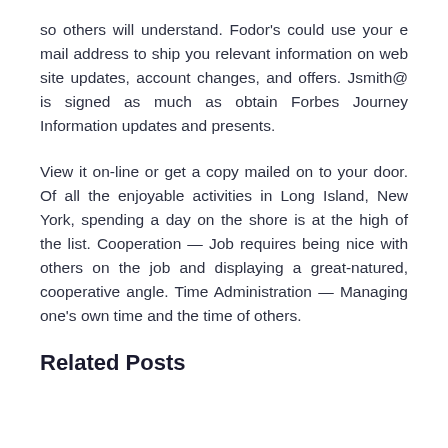so others will understand. Fodor's could use your e mail address to ship you relevant information on web site updates, account changes, and offers. Jsmith@ is signed as much as obtain Forbes Journey Information updates and presents.
View it on-line or get a copy mailed on to your door. Of all the enjoyable activities in Long Island, New York, spending a day on the shore is at the high of the list. Cooperation — Job requires being nice with others on the job and displaying a great-natured, cooperative angle. Time Administration — Managing one's own time and the time of others.
Related Posts